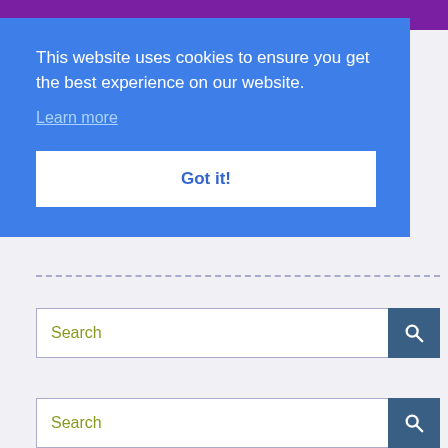[Figure (screenshot): Purple banner at top of webpage, partially obscured by cookie consent overlay]
This website uses cookies to ensure you get the best experience on our website.
Learn more
Got it!
[Figure (other): Dashed horizontal separator line on light grey background]
[Figure (other): Search input box with magnifying glass button, placeholder text 'Search']
[Figure (other): Second search input box with magnifying glass button, placeholder text 'Search']